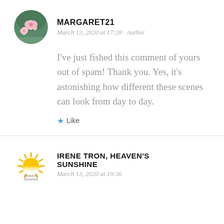[Figure (illustration): Circular avatar photo of pink cherry blossom flowers]
MARGARET21
March 13, 2020 at 17:28 · Author
I've just fished this comment of yours out of spam! Thank you. Yes, it's astonishing how different these scenes can look from day to day.
Like
[Figure (logo): Heavens Sunshine logo: yellow sun rising over horizon with rays, text 'Heavens Sunshine' below]
IRENE TRON, HEAVEN'S SUNSHINE
March 13, 2020 at 19:36